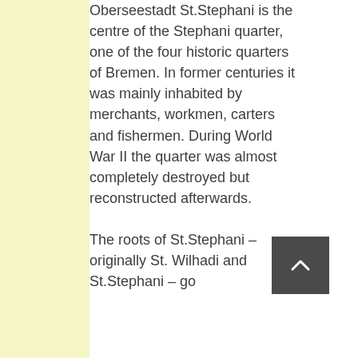Oberseestadt St.Stephani is the centre of the Stephani quarter, one of the four historic quarters of Bremen. In former centuries it was mainly inhabited by merchants, workmen, carters and fishermen. During World War II the quarter was almost completely destroyed but reconstructed afterwards.

The roots of St.Stephani – originally St. Wilhadi and St.Stephani – go